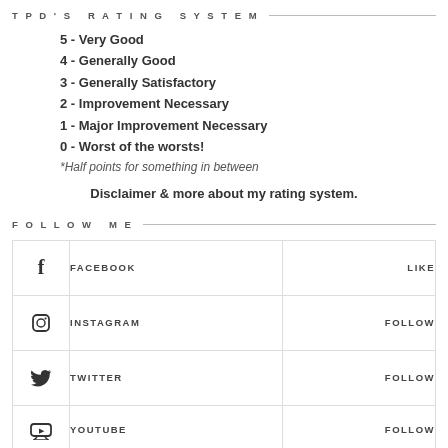TPD'S RATING SYSTEM
5 - Very Good
4 - Generally Good
3 - Generally Satisfactory
2 - Improvement Necessary
1 - Major Improvement Necessary
0 - Worst of the worsts!
*Half points for something in between
Disclaimer & more about my rating system.
FOLLOW ME
| Icon | Platform | Action |
| --- | --- | --- |
| f | FACEBOOK | LIKE |
| instagram | INSTAGRAM | FOLLOW |
| twitter | TWITTER | FOLLOW |
| youtube | YOUTUBE | FOLLOW |